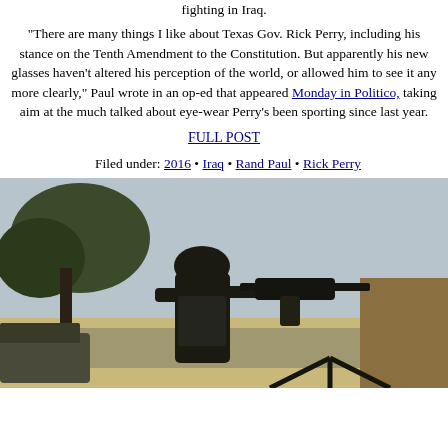fighting in Iraq.
"There are many things I like about Texas Gov. Rick Perry, including his stance on the Tenth Amendment to the Constitution. But apparently his new glasses haven't altered his perception of the world, or allowed him to see it any more clearly," Paul wrote in an op-ed that appeared Monday in Politico, taking aim at the much talked about eye-wear Perry's been sporting since last year.
FULL POST
Filed under: 2016 • Iraq • Rand Paul • Rick Perry
[Figure (photo): A soldier in military gear and helmet stands in silhouette, holding a mounted machine gun on a tripod, with trees and a road visible in the background.]